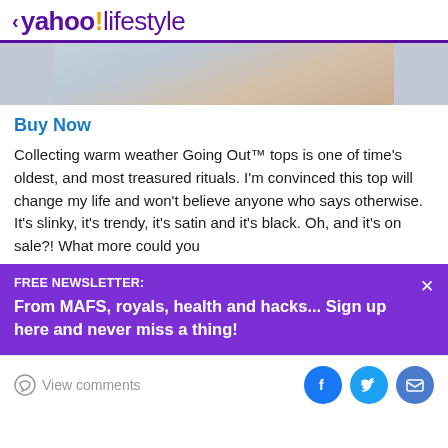< yahoo!lifestyle
[Figure (photo): Cropped photo showing a person's midsection in jeans/casual clothing]
Buy Now
Collecting warm weather Going Out™ tops is one of time's oldest, and most treasured rituals. I'm convinced this top will change my life and won't believe anyone who says otherwise. It's slinky, it's trendy, it's satin and it's black. Oh, and it's on sale?! What more could you
FREE NEWSLETTER:
From MAFS, royals, health and hacks... Sign up here and never miss a thing!
View comments